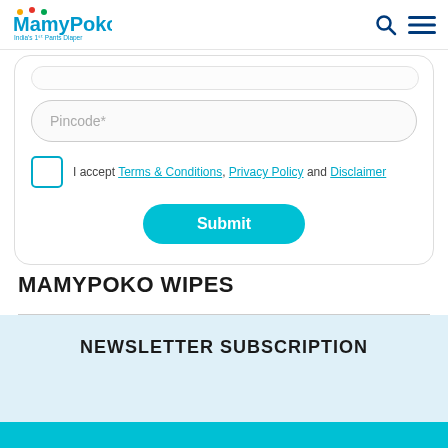MamyPoko India's 1st Pants Diaper
[Figure (screenshot): Form card with Pincode input field, Terms & Conditions checkbox, and Submit button]
MAMYPOKO WIPES
NEWSLETTER SUBSCRIPTION